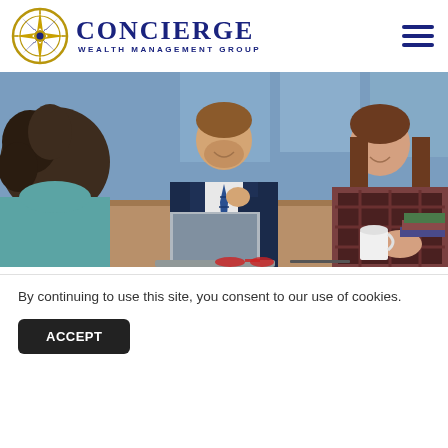Concierge Wealth Management Group
[Figure (photo): Three people sitting at a meeting table with a laptop open; man in suit in the center, woman with curly hair on the left, woman in plaid shirt on the right, office background]
Market Commentary: U.S. Adds 528,000 New Jobs and Unemployment
By continuing to use this site, you consent to our use of cookies.
ACCEPT